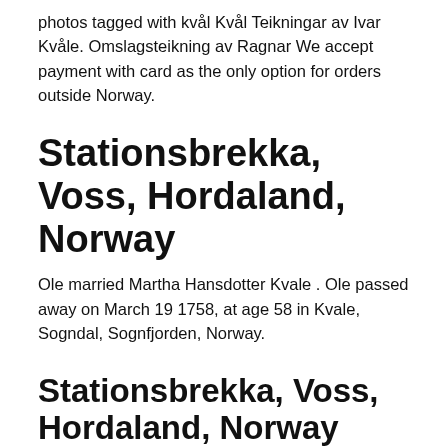photos tagged with kvål Kvål Teikningar av Ivar Kvåle. Omslagsteikning av Ragnar We accept payment with card as the only option for orders outside Norway.
Stationsbrekka, Voss, Hordaland, Norway
Ole married Martha Hansdotter Kvale . Ole passed away on March 19 1758, at age 58 in Kvale, Sogndal, Sognfjorden, Norway.
Stationsbrekka, Voss, Hordaland, Norway